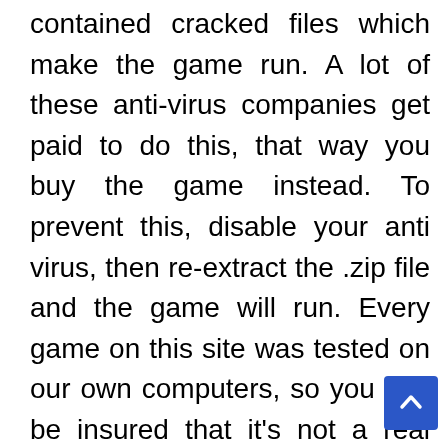contained cracked files which make the game run. A lot of these anti-virus companies get paid to do this, that way you buy the game instead. To prevent this, disable your anti virus, then re-extract the .zip file and the game will run. Every game on this site was tested on our own computers, so you can be insured that it's not a real virus. Anything your A.V may tell you, is a false positive.99% of the time, the errors come from missing programs. Check for a Redist or _CommonRedist folder, and be sure to install all the required software in those folders: DirectX, vcredist, DotNet, etc.Another useful tip is to disable any form of anti virus programs AND windows defender if the game doesn't run. Usually, you don't need to do this, but some AV detect the game files as a "crack" and